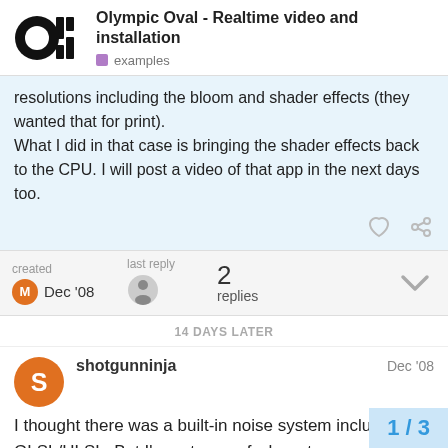Olympic Oval - Realtime video and installation | examples
resolutions including the bloom and shader effects (they wanted that for print).
What I did in that case is bringing the shader effects back to the CPU. I will post a video of that app in the next days too.
created Dec '08   last reply   2 replies
14 DAYS LATER
shotgunninja   Dec '08
I thought there was a built-in noise system included in GLSL/HLSL. But I'm not sure of where to get the noise system.
1 / 3